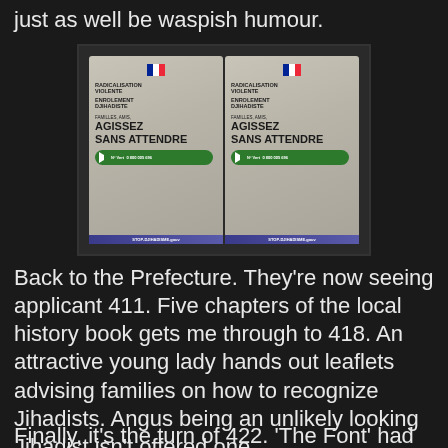just as well be waspish humour.
[Figure (photo): Two French government anti-jihadist recruitment leaflets side by side. Text reads: RADICALISATION VIOLENTE ENROLEMENT DJIHADISTE FAMILLES, AMIS, AGISSEZ SANS ATTENDRE N° Vert 0 800 005 696 STOP-DJIHADISME.gouv]
Back to the Prefecture. They're now seeing applicant 411. Five chapters of the local history book gets me through to 418. An attractive young lady hands out leaflets advising families on how to recognize Jihadists. Angus being an unlikely looking Jihadist isn't offered one.
Finally, it's the turn of 422. 'The Font' had warned m